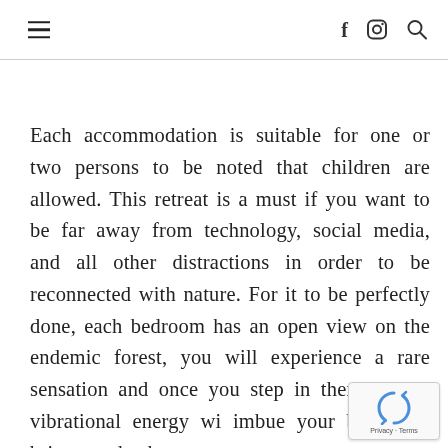≡  f  🔍
Each accommodation is suitable for one or two persons to be noted that children are allowed. This retreat is a must if you want to be far away from technology, social media, and all other distractions in order to be reconnected with nature. For it to be perfectly done, each bedroom has an open view on the endemic forest, you will experience a rare sensation and once you step in there all the vibrational energy wi imbue your body and bring you back to